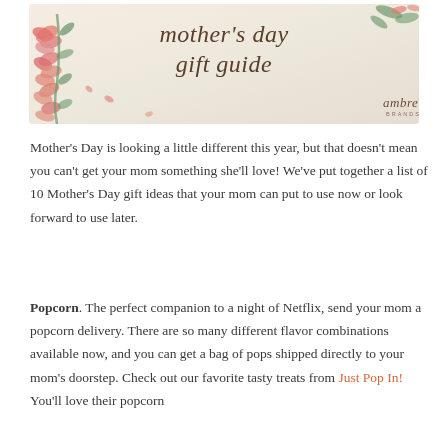[Figure (illustration): Mother's Day gift guide banner with pink floral decorations on the left and top right, script text reading 'mother's day gift guide' in the center, and 'ambre' logo in lower right corner]
Mother's Day is looking a little different this year, but that doesn't mean you can't get your mom something she'll love!  We've put together a list of 10 Mother's Day gift ideas that your mom can put to use now or look forward to use later.
Popcorn. The perfect companion to a night of Netflix, send your mom a popcorn delivery. There are so many different flavor combinations available now, and you can get a bag of pops shipped directly to your mom's doorstep. Check out our favorite tasty treats from Just Pop In! You'll love their popcorn